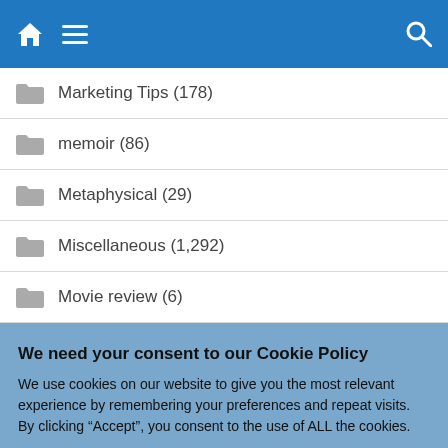Navigation bar with home, menu, and search icons
Marketing Tips (178)
memoir (86)
Metaphysical (29)
Miscellaneous (1,292)
Movie review (6)
We need your consent to our Cookie Policy
We use cookies on our website to give you the most relevant experience by remembering your preferences and repeat visits. By clicking “Accept”, you consent to the use of ALL the cookies.
Do not sell my personal information.
Cookie Settings  Accept